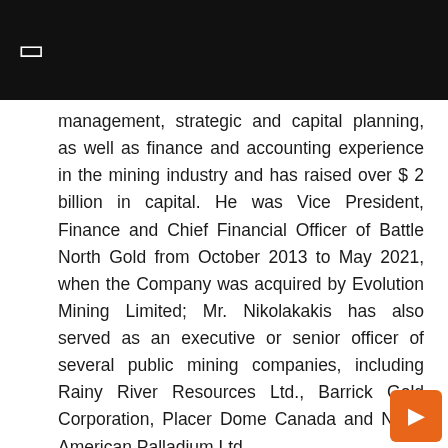[Figure (other): Black header bar with a white checkbox/square icon on the left]
management, strategic and capital planning, as well as finance and accounting experience in the mining industry and has raised over $ 2 billion in capital. He was Vice President, Finance and Chief Financial Officer of Battle North Gold from October 2013 to May 2021, when the Company was acquired by Evolution Mining Limited; Mr. Nikolakakis has also served as an executive or senior officer of several public mining companies, including Rainy River Resources Ltd., Barrick Gold Corporation, Placer Dome Canada and North American Palladium Ltd.

Mr. Nikolakakis holds an Applied Science Degree
[Figure (other): Orange square button with a white right-pointing arrow icon, positioned bottom-right corner]